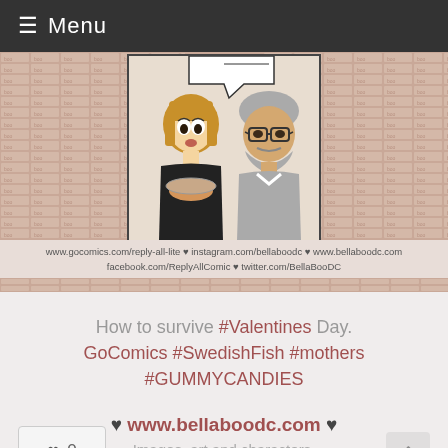≡ Menu
[Figure (illustration): Comic strip panel showing two cartoon characters: a blonde woman with large eyes on the left and a bearded man with glasses on the right, with a speech bubble. Flanked by tiled pattern backgrounds. Social media links below: www.gocomics.com/reply-all-lite, instagram.com/bellaboodc, www.bellaboodc.com, facebook.com/ReplyAllComic, twitter.com/BellaBooDC]
How to survive #Valentines Day. GoComics #SwedishFish #mothers #GUMMYCANDIES
♥ www.bellaboodc.com ♥
Images, art and characters.